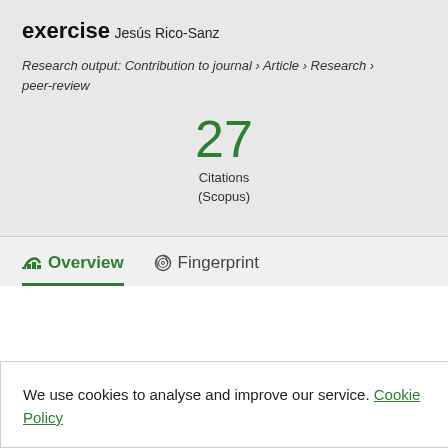exercise
Jesús Rico-Sanz
Research output: Contribution to journal › Article › Research › peer-review
27 Citations (Scopus)
Overview   Fingerprint
We use cookies to analyse and improve our service. Cookie Policy